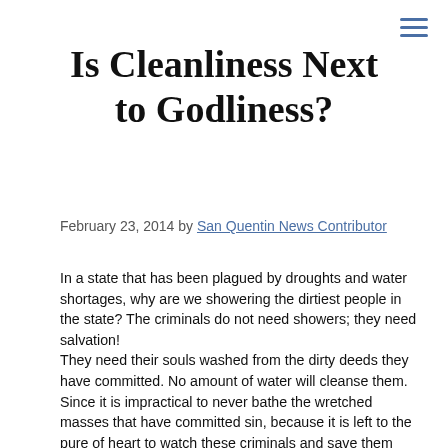Is Cleanliness Next to Godliness?
February 23, 2014 by San Quentin News Contributor
In a state that has been plagued by droughts and water shortages, why are we showering the dirtiest people in the state? The criminals do not need showers; they need salvation!
They need their souls washed from the dirty deeds they have committed. No amount of water will cleanse them.
Since it is impractical to never bathe the wretched masses that have committed sin, because it is left to the pure of heart to watch these criminals and save them from their selves, we should not add to the captor's misery by forcing them to smell the pungent refuse of society.
Since it could be offensive to the sensibilities of the